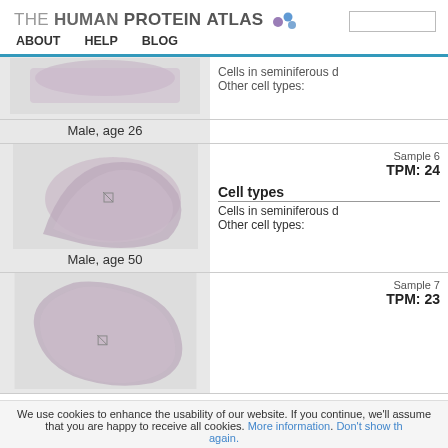THE HUMAN PROTEIN ATLAS
ABOUT   HELP   BLOG
[Figure (photo): Histology tissue image, Male, age 26 - partial view at top]
Male, age 26
Cells in seminiferous d
Other cell types:
[Figure (photo): Histology tissue image, testis, Male age 50]
Male, age 50
Sample 6
TPM: 24
Cell types
Cells in seminiferous d
Other cell types:
[Figure (photo): Histology tissue image, testis, lower section]
Sample 7
TPM: 23
We use cookies to enhance the usability of our website. If you continue, we'll assume that you are happy to receive all cookies. More information. Don't show this again.